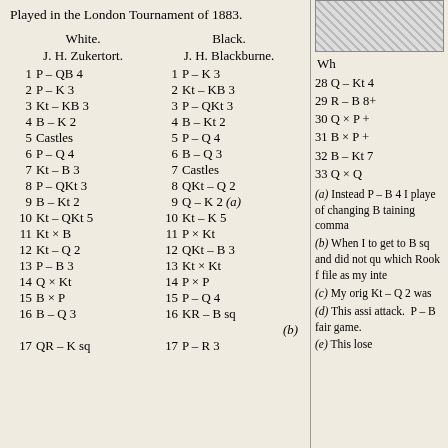Played in the London Tournament of 1883.
| White. | Black. |
| --- | --- |
| J. H. Zukertort. | J. H. Blackburne. |
| 1 P – QB 4 | 1 P – K 3 |
| 2 P – K 3 | 2 Kt – KB 3 |
| 3 Kt – KB 3 | 3 P – QKt 3 |
| 4 B – K 2 | 4 B – Kt 2 |
| 5 Castles | 5 P – Q 4 |
| 6 P – Q 4 | 6 B – Q 3 |
| 7 Kt – B 3 | 7 Castles |
| 8 P – QKt 3 | 8 QKt – Q 2 |
| 9 B – Kt 2 | 9 Q – K 2 (a) |
| 10 Kt – QKt 5 | 10 Kt – K 5 |
| 11 Kt × B | 11 P × Kt |
| 12 Kt – Q 2 | 12 QKt – B 3 |
| 13 P – B 3 | 13 Kt × Kt |
| 14 Q × Kt | 14 P × P |
| 15 B × P | 15 P – Q 4 |
| 16 B – Q 3 | 16 KR – B sq |
| 17 QR – K sq | 17 P – R 3 |
[Figure (other): Hatched/shaded box image in top-right column]
Wh
28 Q – Kt 4
29 R – B 8+
30 Q × P+
31 B × P+
32 B – Kt 7
33 Q × Q
(a) Instead P – B 4 I played of changing B taining comma (b) When I to get to B sq and did not qu which Rook f file as my inte (c) My orig Kt – Q 2 was (d) This assi attack. P – F fair game. (e) This lose